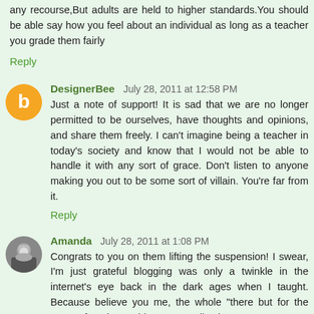any recourse,But adults are held to higher standards.You should be able say how you feel about an individual as long as a teacher you grade them fairly
Reply
DesignerBee  July 28, 2011 at 12:58 PM
Just a note of support! It is sad that we are no longer permitted to be ourselves, have thoughts and opinions, and share them freely. I can't imagine being a teacher in today's society and know that I would not be able to handle it with any sort of grace. Don't listen to anyone making you out to be some sort of villain. You're far from it.
Reply
Amanda  July 28, 2011 at 1:08 PM
Congrats to you on them lifting the suspension! I swear, I'm just grateful blogging was only a twinkle in the internet's eye back in the dark ages when I taught. Because believe you me, the whole "there but for the grace of God go I" thing sure applies here.